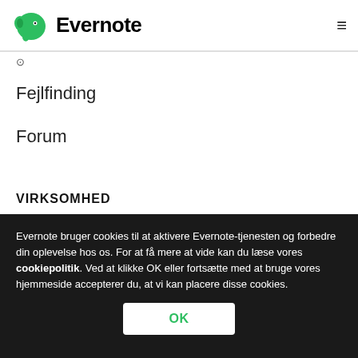Evernote
Fejlfinding
Forum
VIRKSOMHED
Evernote bruger cookies til at aktivere Evernote-tjenesten og forbedre din oplevelse hos os. For at få mere at vide kan du læse vores cookiepolitik. Ved at klikke OK eller fortsætte med at bruge vores hjemmeside accepterer du, at vi kan placere disse cookies.
OK